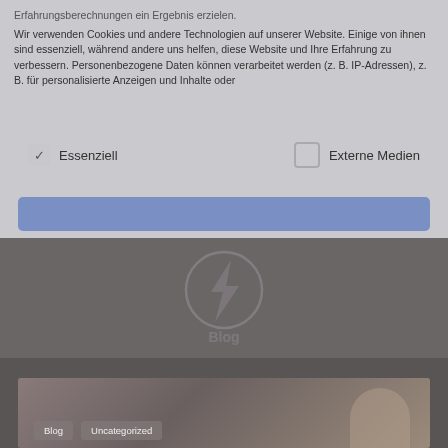Erfahrungsberechnungen ein Ergebnis erzielen.
Wir verwenden Cookies und andere Technologien auf unserer Website. Einige von ihnen sind essenziell, während andere uns helfen, diese Website und Ihre Erfahrung zu verbessern. Personenbezogene Daten können verarbeitet werden (z. B. IP-Adressen), z. B. für personalisierte Anzeigen und Inhalte oder
Essenziell
Externe Medien
[Figure (screenshot): Cookie consent banner overlay on a website with a blue accept button, checkboxes for Essenziell and Externe Medien, watermark logo, and blog image at bottom with Blog and Uncategorized tags]